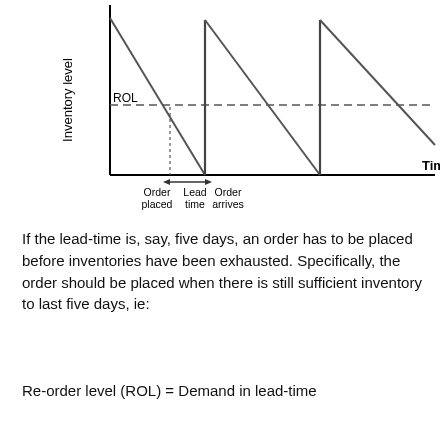[Figure (continuous-plot): Inventory level vs Time chart showing sawtooth pattern with ROL (Re-order level) dashed horizontal line. Labels: 'Inventory level' on y-axis, 'Time' on x-axis, 'ROL' on dashed line, 'Order placed', 'Lead time', 'Order arrives' on x-axis with arrows indicating lead time interval.]
If the lead-time is, say, five days, an order has to be placed before inventories have been exhausted. Specifically, the order should be placed when there is still sufficient inventory to last five days, ie: